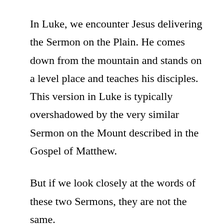In Luke, we encounter Jesus delivering the Sermon on the Plain. He comes down from the mountain and stands on a level place and teaches his disciples. This version in Luke is typically overshadowed by the very similar Sermon on the Mount described in the Gospel of Matthew.
But if we look closely at the words of these two Sermons, they are not the same.
In Matthew, Jesus says “blessed are the poor in spirit...” but here in Luke, Jesus says “blessed are you who are poor.” Just poor. No spiritualization of the concept. The Greek word used, ptochos,